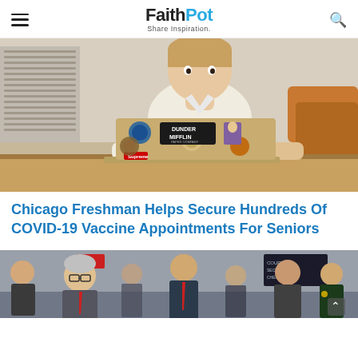FaithPot - Share Inspiration.
[Figure (photo): Young man sitting at a table working on a MacBook laptop covered with stickers including Dunder Mifflin, Supreme, and other stickers.]
Chicago Freshman Helps Secure Hundreds Of COVID-19 Vaccine Appointments For Seniors
[Figure (photo): Group of men in suits walking, appearing to be officials or lawyers exiting a building, with an Exit sign visible in the background.]